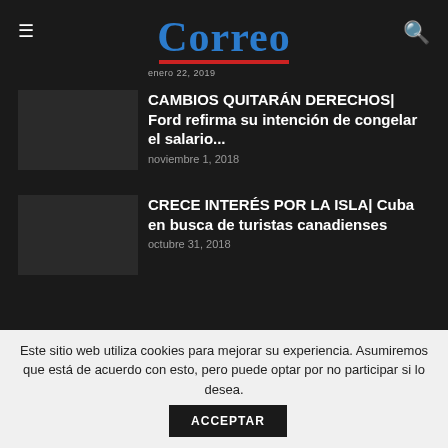Correo
enero 22, 2019
CAMBIOS QUITARÁN DERECHOS| Ford refirma su intención de congelar el salario...
noviembre 1, 2018
CRECE INTERÉS POR LA ISLA| Cuba en busca de turistas canadienses
octubre 31, 2018
Este sitio web utiliza cookies para mejorar su experiencia. Asumiremos que está de acuerdo con esto, pero puede optar por no participar si lo desea. ACCEPTAR